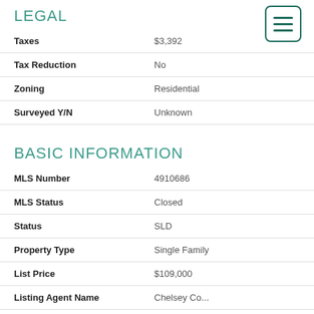LEGAL
| Field | Value |
| --- | --- |
| Taxes | $3,392 |
| Tax Reduction | No |
| Zoning | Residential |
| Surveyed Y/N | Unknown |
BASIC INFORMATION
| Field | Value |
| --- | --- |
| MLS Number | 4910686 |
| MLS Status | Closed |
| Status | SLD |
| Property Type | Single Family |
| List Price | $109,000 |
| Listing Agent Name | Chelsey Co... |